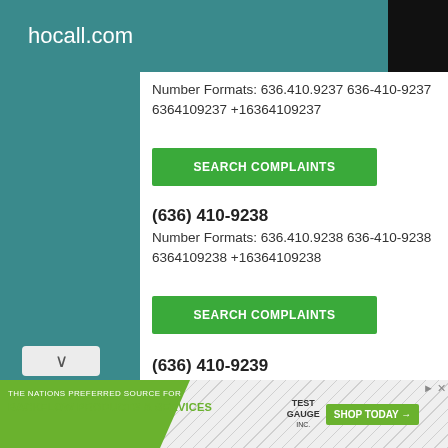hocall.com
Number Formats: 636.410.9237 636-410-9237 6364109237 +16364109237
[Figure (screenshot): Green SEARCH COMPLAINTS button]
(636) 410-9238
Number Formats: 636.410.9238 636-410-9238 6364109238 +16364109238
[Figure (screenshot): Green SEARCH COMPLAINTS button]
(636) 410-9239
Number Formats: 636.410.9239 636-410-9239 6364109239 +16364109239
[Figure (screenshot): Green SEARCH COMPLAINTS button]
[Figure (screenshot): Bottom advertisement bar: THE NATIONS PREFERRED SOURCE FOR BACKFLOW PRODUCTS & SERVICES, Test Gauge Inc., SHOP TODAY button]